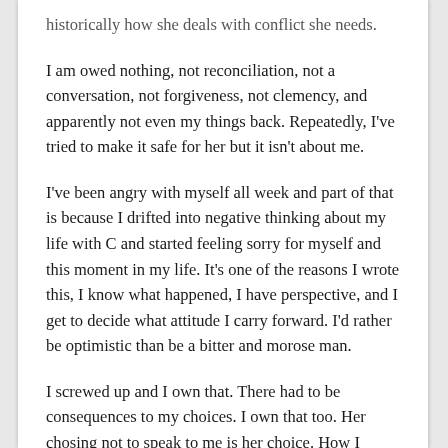historically how she deals with conflict she needs.
I am owed nothing, not reconciliation, not a conversation, not forgiveness, not clemency, and apparently not even my things back. Repeatedly, I've tried to make it safe for her but it isn't about me.
I've been angry with myself all week and part of that is because I drifted into negative thinking about my life with C and started feeling sorry for myself and this moment in my life. It's one of the reasons I wrote this, I know what happened, I have perspective, and I get to decide what attitude I carry forward. I'd rather be optimistic than be a bitter and morose man.
I screwed up and I own that. There had to be consequences to my choices. I own that too. Her chosing not to speak to me is her choice. How I respond is mine. I refuse to be one of those people that hurts her back simply because she hurt me. I had tried to respect the of her choices (overall).